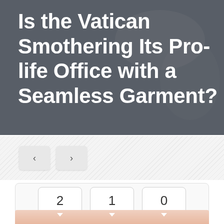[Figure (photo): Dark gray background photo with a blurred hand or fabric texture, serving as hero image behind the title text.]
Is the Vatican Smothering Its Pro-life Office with a Seamless Garment?
[Figure (infographic): Navigation buttons with left and right chevron arrows on a hatched light gray background.]
[Figure (infographic): Social share widget box showing count bubbles (2, 1, 0) above Facebook Share, Twitter Tweet, and Pinterest Pin buttons.]